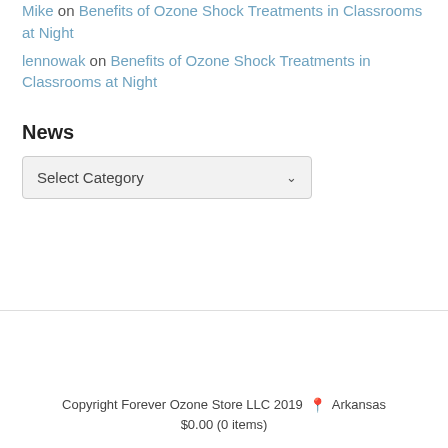Mike on Benefits of Ozone Shock Treatments in Classrooms at Night
lennowak on Benefits of Ozone Shock Treatments in Classrooms at Night
News
Select Category
Copyright Forever Ozone Store LLC 2019  Arkansas  $0.00 (0 items)